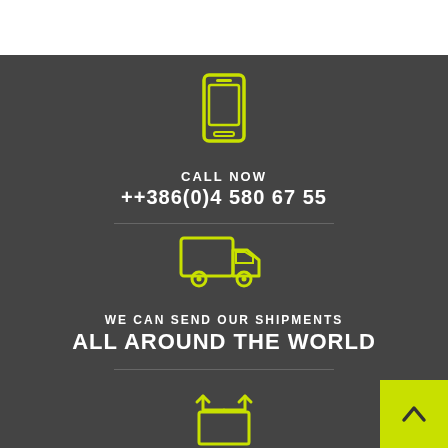[Figure (illustration): Yellow-green outline icon of a smartphone]
CALL NOW
++386(0)4 580 67 55
[Figure (illustration): Yellow-green outline icon of a delivery truck]
WE CAN SEND OUR SHIPMENTS
ALL AROUND THE WORLD
[Figure (illustration): Yellow-green outline icon of a recycling / package box with arrows]
[Figure (illustration): Yellow-green back-to-top button with chevron arrow]